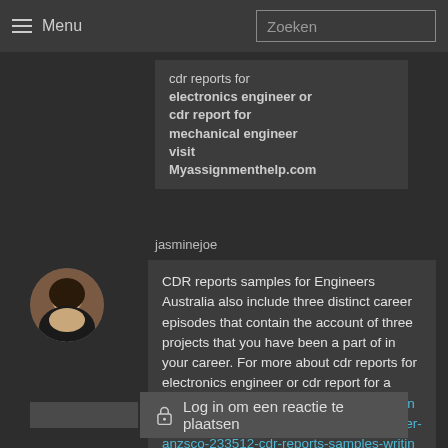Menu | Zoeken
cdr reports for electronics engineer or cdr report for mechanical engineer visit Myassignmenthelp.com
jasminejoe
[Figure (photo): Avatar/profile photo of user jasminejoe, a woman with dark hair]
CDR reports samples for Engineers Australia also include three distinct career episodes that contain the account of three projects that you have been a part of in your career. For more about cdr reports for electronics engineer or cdr report for a mechanical engineer visit https://myassignmenthelp.com/au/cdr/mechanical-engineer-anzsco-233512-cdr-reports-samples-writing-australia.html
Log in om een reactie te plaatsen